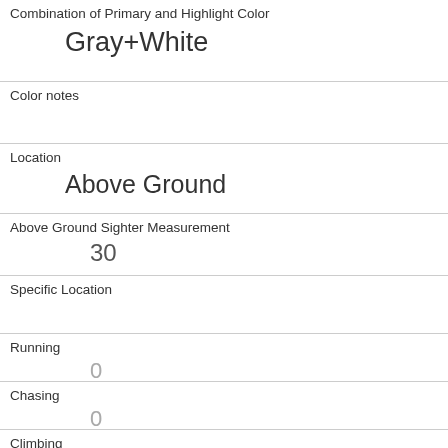| Combination of Primary and Highlight Color | Gray+White |
| Color notes |  |
| Location | Above Ground |
| Above Ground Sighter Measurement | 30 |
| Specific Location |  |
| Running | 0 |
| Chasing | 0 |
| Climbing | 1 |
| Eating | 0 |
| Foraging | 1 |
| Other Activities |  |